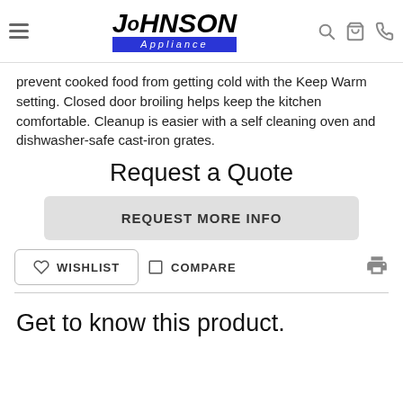[Figure (logo): Johnson Appliance logo with stylized text and blue banner]
prevent cooked food from getting cold with the Keep Warm setting. Closed door broiling helps keep the kitchen comfortable. Cleanup is easier with a self cleaning oven and dishwasher-safe cast-iron grates.
Request a Quote
REQUEST MORE INFO
WISHLIST
COMPARE
Get to know this product.